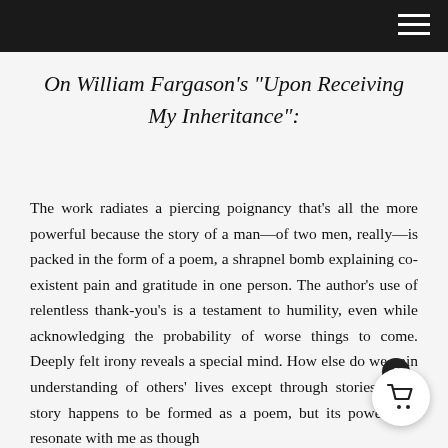On William Fargason's “Upon Receiving My Inheritance”:
The work radiates a piercing poignancy that’s all the more powerful because the story of a man—of two men, really—is packed in the form of a poem, a shrapnel bomb explaining co-existent pain and gratitude in one person. The author’s use of relentless thank-you’s is a testament to humility, even while acknowledging the probability of worse things to come. Deeply felt irony reveals a special mind. How else do we gain understanding of others’ lives except through stories? This story happens to be formed as a poem, but its power will resonate with me as though